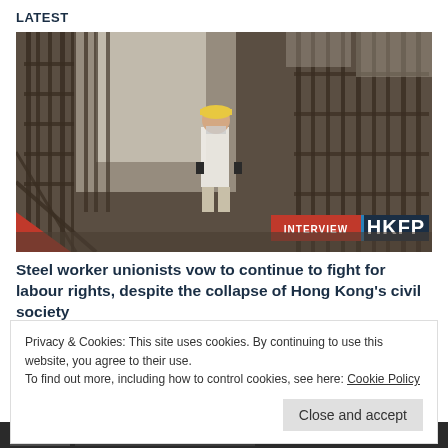LATEST
[Figure (photo): A construction worker in a white polo shirt and yellow hard hat stands among steel rebar scaffolding frames in an industrial space. Badge overlay reads INTERVIEW and HKFP.]
Steel worker unionists vow to continue to fight for labour rights, despite the collapse of Hong Kong's civil society
Privacy & Cookies: This site uses cookies. By continuing to use this website, you agree to their use.
To find out more, including how to control cookies, see here: Cookie Policy
Close and accept